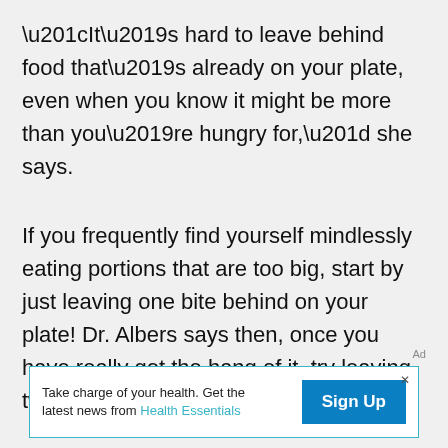“It’s hard to leave behind food that’s already on your plate, even when you know it might be more than you’re hungry for,” she says.
If you frequently find yourself mindlessly eating portions that are too big, start by just leaving one bite behind on your plate! Dr. Albers says then, once you have really got the hang of it, try leaving two bites.
“But don’t do this until you get comfortable with
[Figure (other): Advertisement banner: 'Take charge of your health. Get the latest news from Health Essentials' with a blue 'Sign Up' button and a close (x) icon.]